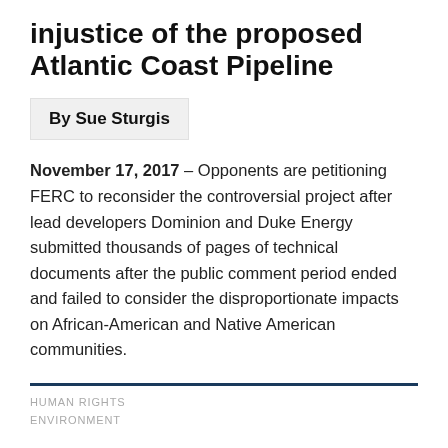injustice of the proposed Atlantic Coast Pipeline
By Sue Sturgis
November 17, 2017 – Opponents are petitioning FERC to reconsider the controversial project after lead developers Dominion and Duke Energy submitted thousands of pages of technical documents after the public comment period ended and failed to consider the disproportionate impacts on African-American and Native American communities.
HUMAN RIGHTS
ENVIRONMENT